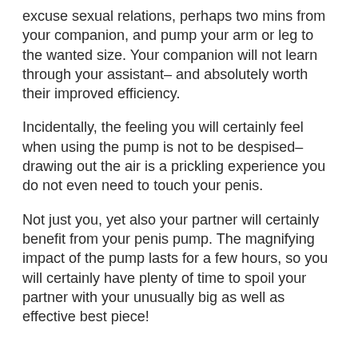excuse sexual relations, perhaps two mins from your companion, and pump your arm or leg to the wanted size. Your companion will not learn through your assistant– and absolutely worth their improved efficiency.
Incidentally, the feeling you will certainly feel when using the pump is not to be despised–drawing out the air is a prickling experience you do not even need to touch your penis.
Not just you, yet also your partner will certainly benefit from your penis pump. The magnifying impact of the pump lasts for a few hours, so you will certainly have plenty of time to spoil your partner with your unusually big as well as effective best piece!